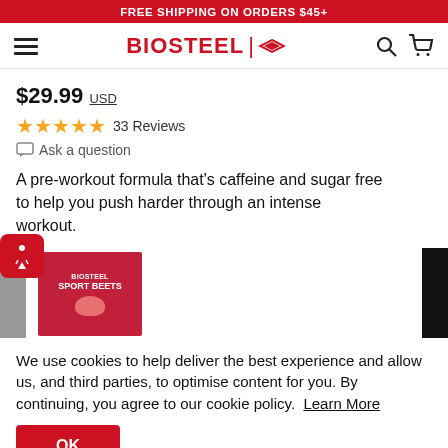FREE SHIPPING ON ORDERS $45+
[Figure (logo): BioSteel brand logo with text BIOSTEEL and diamond shape icon in red]
$29.99 USD
★★★★★ 33 Reviews
Ask a question
A pre-workout formula that's caffeine and sugar free to help you push harder through an intense workout.
[Figure (photo): BioSteel Sport Beets product packaging in pink/red]
We use cookies to help deliver the best experience and allow us, and third parties, to optimise content for you. By continuing, you agree to our cookie policy. Learn More
OK